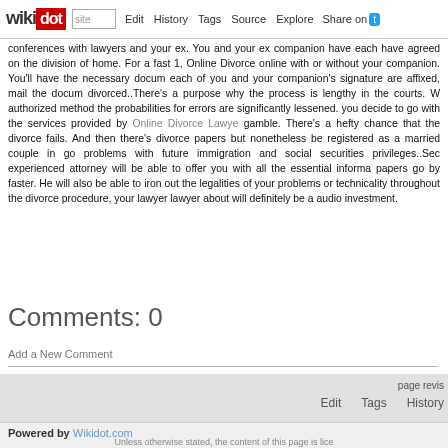wikidot | Edit | History | Tags | Source | Explore | Share on [Twitter]
conferences with lawyers and your ex. You and your ex companion have each have agreed on the division of home. For a fast 1, Online Divorce online with or without your companion. You'll have the necessary docum each of you and your companion's signature are affixed, mail the docum divorced..There's a purpose why the process is lengthy in the courts. W authorized method the probabilities for errors are significantly lessened. you decide to go with the services provided by Online Divorce Lawye gamble. There's a hefty chance that the divorce fails. And then there's divorce papers but nonetheless be registered as a married couple in go problems with future immigration and social securities privileges..Sec experienced attorney will be able to offer you with all the essential informa papers go by faster. He will also be able to iron out the legalities of your problems or technicality throughout the divorce procedure, your lawyer lawyer about will definitely be a audio investment.
Comments: 0
Add a New Comment
page revis
Edit   Tags   History
Powered by Wikidot.com
Unless otherwise stated, the content of this page is lice